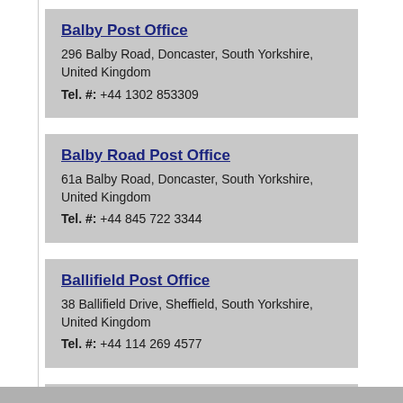Balby Post Office
296 Balby Road, Doncaster, South Yorkshire, United Kingdom
Tel. #: +44 1302 853309
Balby Road Post Office
61a Balby Road, Doncaster, South Yorkshire, United Kingdom
Tel. #: +44 845 722 3344
Ballifield Post Office
38 Ballifield Drive, Sheffield, South Yorkshire, United Kingdom
Tel. #: +44 114 269 4577
Barugh Green Post Office
90 Barugh Green Road, Barugh Grn, Barnsley, South Yorkshire, United Kingdom